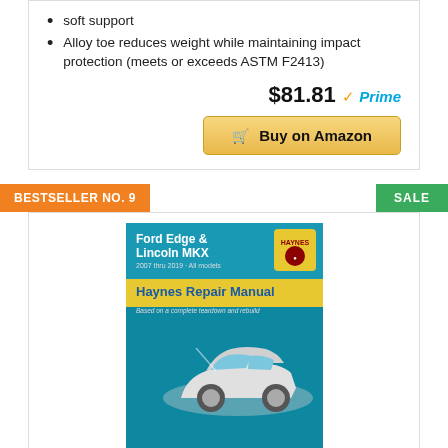soft support
Alloy toe reduces weight while maintaining impact protection (meets or exceeds ASTM F2413)
$81.81 Prime
Buy on Amazon
BESTSELLER NO. 9
SALE
[Figure (photo): Book cover: Ford Edge & Lincoln MKX 2007 thru 2019 All models Haynes Repair Manual]
Ford Edge & Lincoln MKX 2007 thru 2019 All models Haynes Repair Manual: 2007 thru 2019